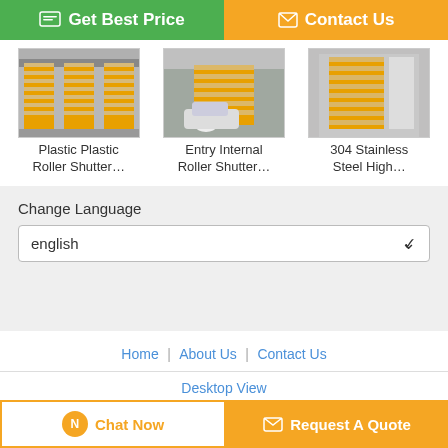[Figure (screenshot): Green 'Get Best Price' button and orange 'Contact Us' button at the top]
[Figure (photo): Three product images: Plastic Plastic Roller Shutter, Entry Internal Roller Shutter, 304 Stainless Steel High Speed roller shutter doors]
Plastic Plastic Roller Shutter…
Entry Internal Roller Shutter…
304 Stainless Steel High…
Change Language
english
Home | About Us | Contact Us
Desktop View
China interior roller shutter doors Supplier. Copyright © 2015 - 2022 industrialhighspeeddoors.com. All rights reserved. Developed by ECER
[Figure (screenshot): Bottom bar with Chat Now and Request A Quote buttons]